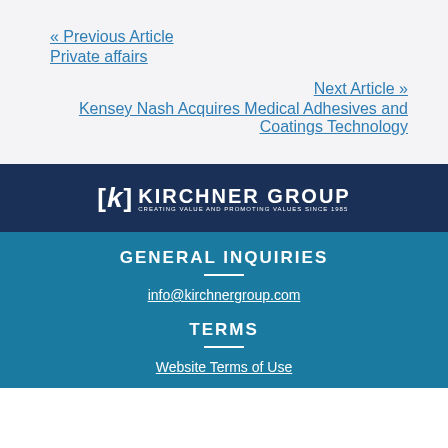« Previous Article
Private affairs
Next Article »
Kensey Nash Acquires Medical Adhesives and Coatings Technology
[Figure (logo): Kirchner Group logo: [k] KIRCHNER GROUP - CREATING VALUE and PROMOTING VALUES since 1985, white text on dark navy background]
GENERAL INQUIRIES
info@kirchnergroup.com
TERMS
Website Terms of Use